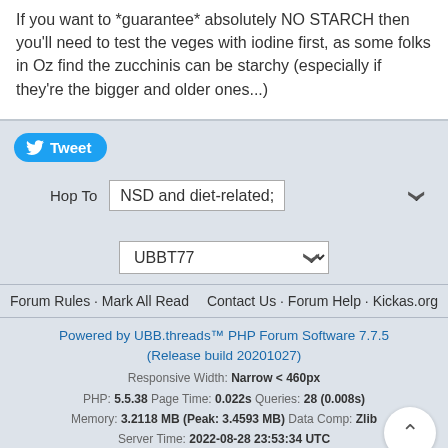If you want to *guarantee* absolutely NO STARCH then you'll need to test the veges with iodine first, as some folks in Oz find the zucchinis can be starchy (especially if they're the bigger and older ones...)
[Figure (other): Tweet button with Twitter bird icon]
Hop To   NSD and diet-related;
UBBT77
Forum Rules · Mark All Read    Contact Us · Forum Help · Kickas.org
Powered by UBB.threads™ PHP Forum Software 7.7.5 (Release build 20201027)
Responsive Width: Narrow < 460px
PHP: 5.5.38 Page Time: 0.022s Queries: 28 (0.008s)
Memory: 3.2118 MB (Peak: 3.4593 MB) Data Comp: Zlib
Server Time: 2022-08-28 23:53:34 UTC
Valid HTML 5 and Valid CSS